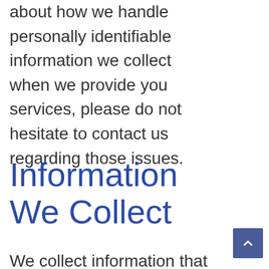about how we handle personally identifiable information we collect when we provide you services, please do not hesitate to contact us regarding those issues.
Information We Collect
We collect information that